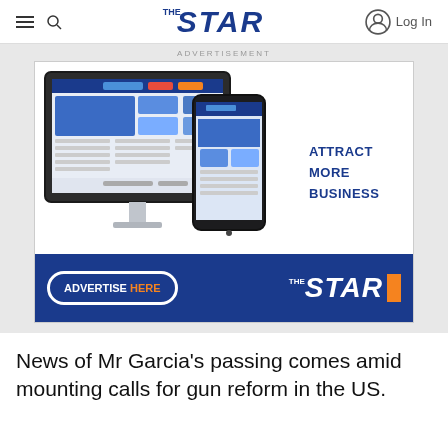THE STAR — Log In
ADVERTISEMENT
[Figure (illustration): Advertisement banner for The Star newspaper featuring a desktop monitor and mobile phone showing the Star website, with text 'ATTRACT MORE BUSINESS' and 'ADVERTISE HERE' button with The Star logo]
News of Mr Garcia's passing comes amid mounting calls for gun reform in the US.